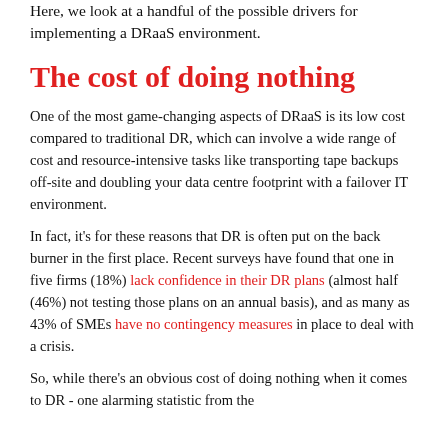Here, we look at a handful of the possible drivers for implementing a DRaaS environment.
The cost of doing nothing
One of the most game-changing aspects of DRaaS is its low cost compared to traditional DR, which can involve a wide range of cost and resource-intensive tasks like transporting tape backups off-site and doubling your data centre footprint with a failover IT environment.
In fact, it's for these reasons that DR is often put on the back burner in the first place. Recent surveys have found that one in five firms (18%) lack confidence in their DR plans (almost half (46%) not testing those plans on an annual basis), and as many as 43% of SMEs have no contingency measures in place to deal with a crisis.
So, while there's an obvious cost of doing nothing when it comes to DR - one alarming statistic from the